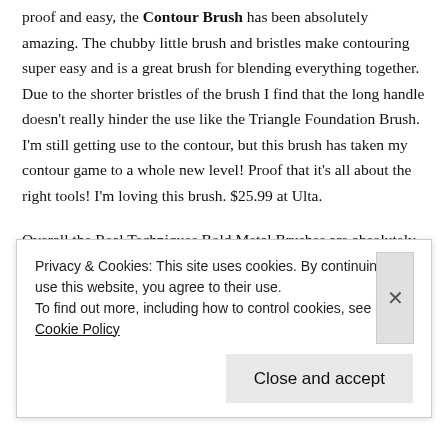proof and easy, the Contour Brush has been absolutely amazing. The chubby little brush and bristles make contouring super easy and is a great brush for blending everything together.  Due to the shorter bristles of the brush I find that the long handle doesn't really hinder the use like the Triangle Foundation Brush. I'm still getting use to the contour, but this brush has taken my contour game to a whole new level! Proof that it's all about the right tools! I'm loving this brush. $25.99 at Ulta.
Overall the Real Techniques Bold Metal Brushes are absolutely gorgeous and I hope to one day pick up the rest of the collection. On some occasions the sleek, long design of the handles are a hinderance to makeup application, but overall they're known to be amazing brushes. Unfortunately they don't hold their shape after
Privacy & Cookies: This site uses cookies. By continuing to use this website, you agree to their use.
To find out more, including how to control cookies, see here: Cookie Policy
Close and accept